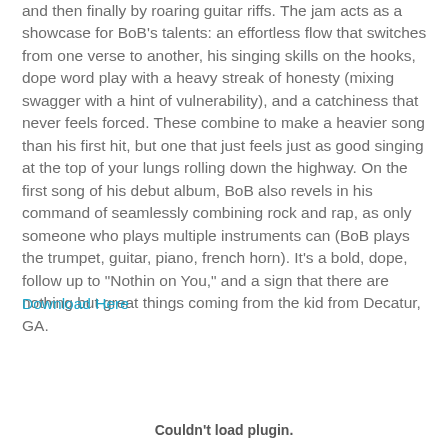and then finally by roaring guitar riffs. The jam acts as a showcase for BoB's talents: an effortless flow that switches from one verse to another, his singing skills on the hooks, dope word play with a heavy streak of honesty (mixing swagger with a hint of vulnerability), and a catchiness that never feels forced. These combine to make a heavier song than his first hit, but one that just feels just as good singing at the top of your lungs rolling down the highway. On the first song of his debut album, BoB also revels in his command of seamlessly combining rock and rap, as only someone who plays multiple instruments can (BoB plays the trumpet, guitar, piano, french horn). It's a bold, dope, follow up to "Nothin on You," and a sign that there are nothing but great things coming from the kid from Decatur, GA.
Download Here
Couldn't load plugin.